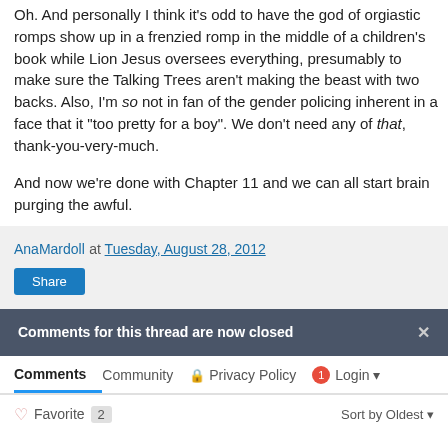Oh. And personally I think it's odd to have the god of orgiastic romps show up in a frenzied romp in the middle of a children's book while Lion Jesus oversees everything, presumably to make sure the Talking Trees aren't making the beast with two backs. Also, I'm so not in fan of the gender policing inherent in a face that it "too pretty for a boy". We don't need any of that, thank-you-very-much.
And now we're done with Chapter 11 and we can all start brain purging the awful.
AnaMardoll at Tuesday, August 28, 2012
Share
Comments for this thread are now closed
Comments  Community  Privacy Policy  Login
Favorite 2  Sort by Oldest